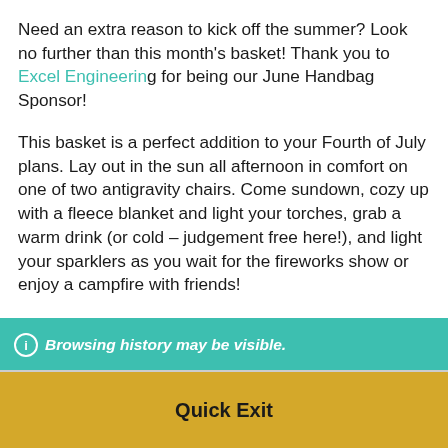Need an extra reason to kick off the summer? Look no further than this month's basket! Thank you to Excel Engineering for being our June Handbag Sponsor!
This basket is a perfect addition to your Fourth of July plans. Lay out in the sun all afternoon in comfort on one of two antigravity chairs. Come sundown, cozy up with a fleece blanket and light your torches, grab a warm drink (or cold – judgement free here!), and light your sparklers as you wait for the fireworks show or enjoy a campfire with friends!
ⓘ Browsing history may be visible.
Quick Exit